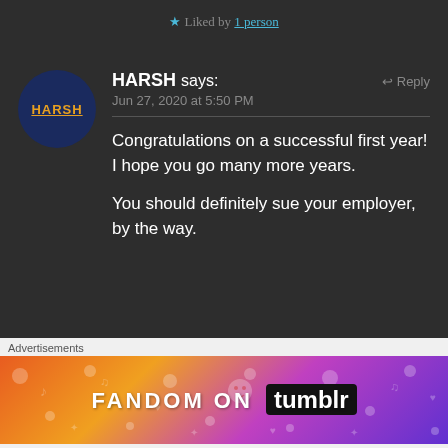★ Liked by 1 person
HARSH says: Jun 27, 2020 at 5:50 PM ↩ Reply
Congratulations on a successful first year! I hope you go many more years.

You should definitely sue your employer, by the way.
★ Liked by 1 person
[Figure (infographic): Fandom on Tumblr advertisement banner with colorful gradient background (orange to purple) and decorative doodles]